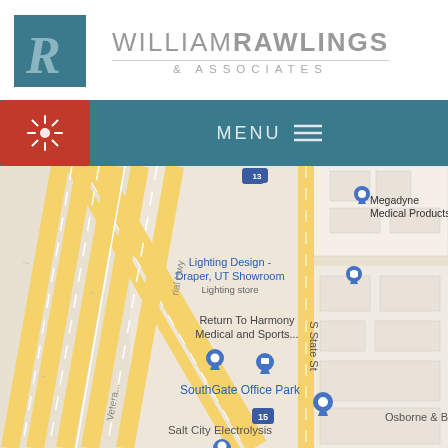[Figure (logo): William Rawlings & Associates law firm logo with teal square containing stylized R letter and firm name]
[Figure (screenshot): Mobile website navigation bar with red button showing sun/virus icon and MENU hamburger menu on teal background]
[Figure (map): Google Maps screenshot showing Draper, UT area with I-15 highway, S State St, locations including Megadyne Medical Products, Lighting Design Draper UT Showroom, Return To Harmony Medical and Sports, SouthGate Office Park, Salt City Electrolysis, Osborne & Barn]